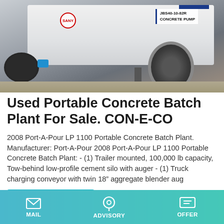[Figure (photo): Photograph of a white concrete pump machine (JBS40-10-82R Concrete Pump) on a trailer with large tire, blue hydraulic coupling, black auger components, outdoors on gravel surface.]
Used Portable Concrete Batch Plant For Sale. CON-E-CO
2008 Port-A-Pour LP 1100 Portable Concrete Batch Plant. Manufacturer: Port-A-Pour 2008 Port-A-Pour LP 1100 Portable Concrete Batch Plant: - (1) Trailer mounted, 100,000 lb capacity, Tow-behind low-profile cement silo with auger - (1) Truck charging conveyor with twin 18" aggregate blender aug
[Figure (photo): Partial view of another piece of equipment or machinery, cropped at bottom of page.]
MAIL   ADVISORY   OFFER